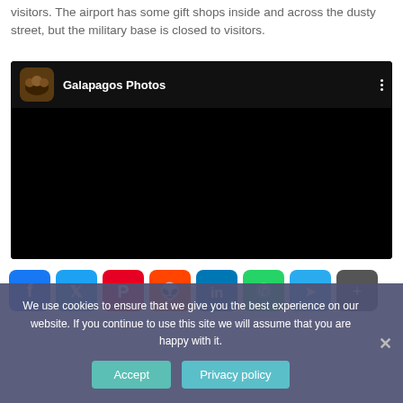visitors. The airport has some gift shops inside and across the dusty street, but the military base is closed to visitors.
[Figure (screenshot): YouTube-style video embed showing 'Galapagos Photos' channel with a dark/black video body and channel thumbnail icon on the left, three-dot menu on the right.]
[Figure (infographic): Social sharing icon bar with Facebook, Twitter, Pinterest, Reddit, LinkedIn, WhatsApp, Telegram, and Share buttons.]
We use cookies to ensure that we give you the best experience on our website. If you continue to use this site we will assume that you are happy with it.